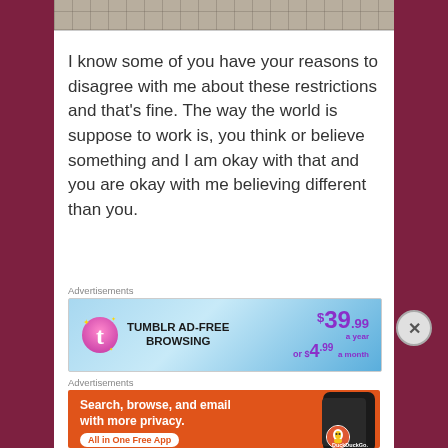[Figure (photo): Top portion of a photo showing tiled floor surface, partially cropped]
I know some of you have your reasons to disagree with me about these restrictions and that's fine. The way the world is suppose to work is, you think or believe something and I am okay with that and you are okay with me believing different than you.
Advertisements
[Figure (screenshot): Tumblr Ad-Free Browsing advertisement banner: $39.99 a year or $4.99 a month]
Advertisements
[Figure (screenshot): DuckDuckGo advertisement: Search, browse, and email with more privacy. All in One Free App]